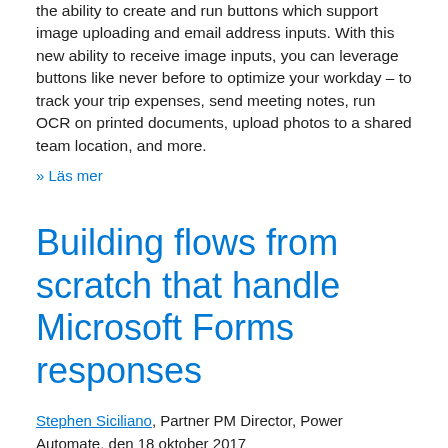the ability to create and run buttons which support image uploading and email address inputs. With this new ability to receive image inputs, you can leverage buttons like never before to optimize your workday – to track your trip expenses, send meeting notes, run OCR on printed documents, upload photos to a shared team location, and more.
» Läs mer
Building flows from scratch that handle Microsoft Forms responses
Stephen Siciliano, Partner PM Director, Power Automate, den 18 oktober 2017
This week we are sharing that Microsoft Forms triggers are much faster than before. This blog post walks through how you